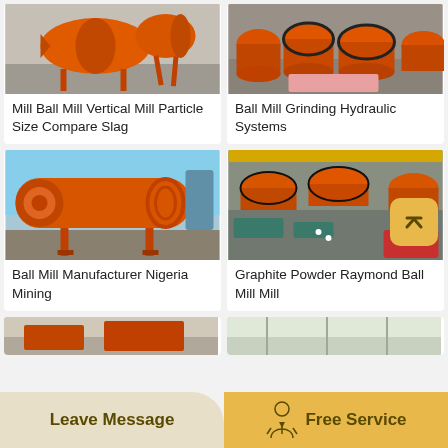[Figure (photo): Orange ball mill / cement mixer machinery in industrial yard]
Mill Ball Mill Vertical Mill Particle Size Compare Slag
[Figure (photo): Multiple orange ball mills arranged in factory warehouse]
Ball Mill Grinding Hydraulic Systems
[Figure (photo): Large orange horizontal ball mill on metal frame structure outdoors]
Ball Mill Manufacturer Nigeria Mining
[Figure (photo): Aerial view of multiple orange ball mills and machinery in industrial yard with workers]
Graphite Powder Raymond Ball Mill Mill
[Figure (photo): Industrial interior partial view]
Leave Message
Free Service